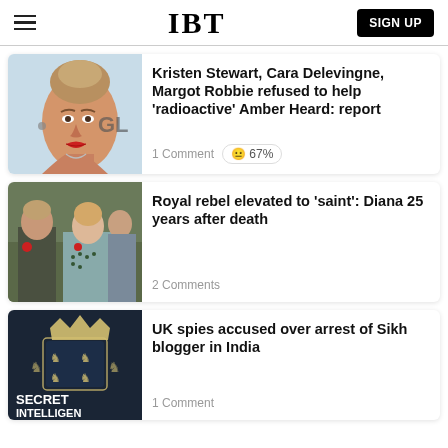IBT | SIGN UP
[Figure (photo): Photo of a woman (Amber Heard) at an event with 'GL' letters visible]
Kristen Stewart, Cara Delevingne, Margot Robbie refused to help 'radioactive' Amber Heard: report
1 Comment  😐 67%
[Figure (photo): Photo of Prince Charles and Princess Diana together at an event]
Royal rebel elevated to 'saint': Diana 25 years after death
2 Comments
[Figure (photo): Dark image showing Secret Intelligence Service crest/logo with text SECRET INTELLIGENCE SERVICE]
UK spies accused over arrest of Sikh blogger in India
1 Comment